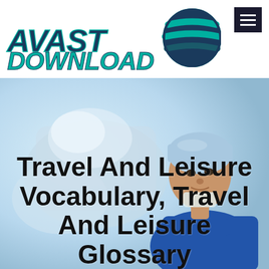[Figure (logo): AVAST DOWNLOAD logo with stylized italic text in teal/dark blue and a globe sphere icon on the right]
[Figure (photo): A male surgeon or doctor wearing blue scrubs and a surgical cap, standing in a medical/operating room environment with blurred background]
Travel And Leisure Vocabulary, Travel And Leisure Glossary